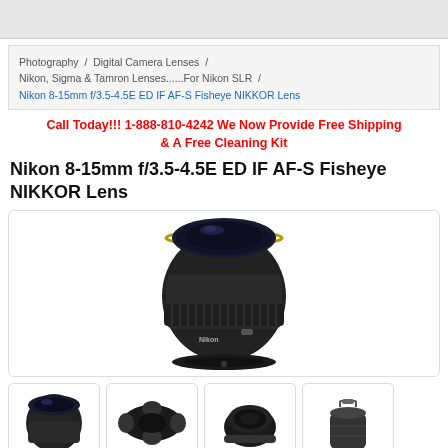Photography / Digital Camera Lenses / Nikon, Sigma & Tamron Lenses......For Nikon SLR / Nikon 8-15mm f/3.5-4.5E ED IF AF-S Fisheye NIKKOR Lens
Call Today!!! 1-888-810-4242 We Now Provide Free Shipping & A Free Cleaning Kit
Nikon 8-15mm f/3.5-4.5E ED IF AF-S Fisheye NIKKOR Lens
[Figure (photo): Nikon 8-15mm fisheye NIKKOR lens, front view, black with gold accent ring]
[Figure (photo): Thumbnail: Nikon 8-15mm fisheye lens front view]
[Figure (photo): Thumbnail: Lens hood accessory]
[Figure (photo): Thumbnail: Rear lens cap / adapter]
[Figure (photo): Thumbnail: Lens pouch bag]